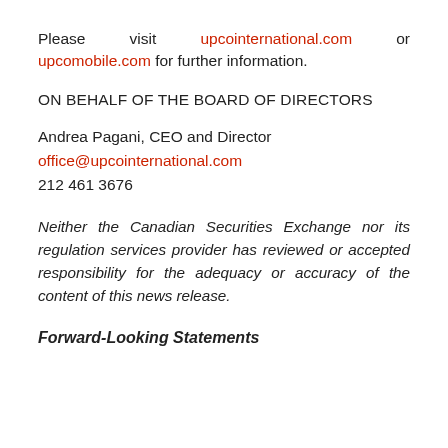Please visit upcointernational.com or upcomobile.com for further information.
ON BEHALF OF THE BOARD OF DIRECTORS
Andrea Pagani, CEO and Director
office@upcointernational.com
212 461 3676
Neither the Canadian Securities Exchange nor its regulation services provider has reviewed or accepted responsibility for the adequacy or accuracy of the content of this news release.
Forward-Looking Statements